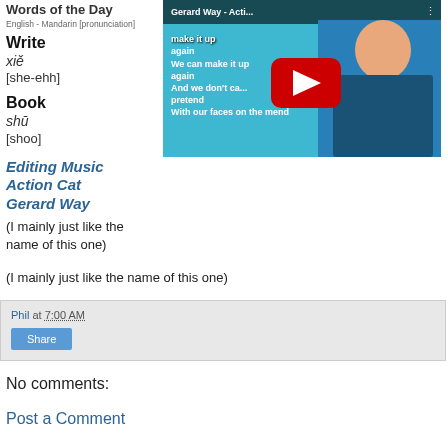Words of the Day
English - Mandarin [pronunciation]
Write
xiě
[she-ehh]
Book
shū
[shoo]
[Figure (screenshot): YouTube video thumbnail showing Gerard Way - Acti... with lyrics overlay and play button]
Editing Music Action Cat Gerard Way
(I mainly just like the name of this one)
Phil at 7:00 AM
No comments:
Post a Comment